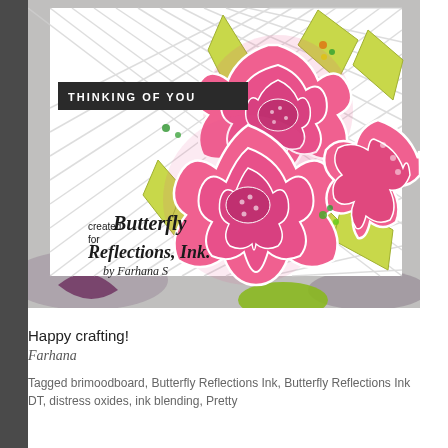[Figure (photo): A handmade greeting card with large pink peony flowers on a white lattice background, with text 'THINKING OF YOU' on a dark banner, and stamped text reading 'created for Butterfly Reflections, Ink. by Farhana S'. Green sequin embellishments and yellow-green leaves visible. Card sits on a marble surface with scattered greenery.]
Happy crafting!
Farhana
Tagged brimoodboard, Butterfly Reflections Ink, Butterfly Reflections Ink DT, distress oxides, ink blending, Pretty